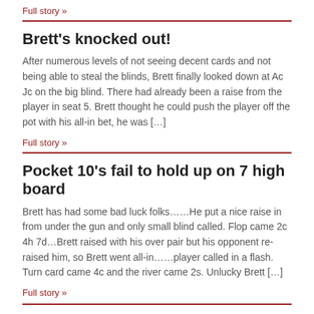Full story »
Brett's knocked out!
After numerous levels of not seeing decent cards and not being able to steal the blinds, Brett finally looked down at Ac Jc on the big blind. There had already been a raise from the player in seat 5. Brett thought he could push the player off the pot with his all-in bet, he was […]
Full story »
Pocket 10's fail to hold up on 7 high board
Brett has had some bad luck folks……He put a nice raise in from under the gun and only small blind called. Flop came 2c 4h 7d…Brett raised with his over pair but his opponent re-raised him, so Brett went all-in……player called in a flash. Turn card came 4c and the river came 2s. Unlucky Brett […]
Full story »